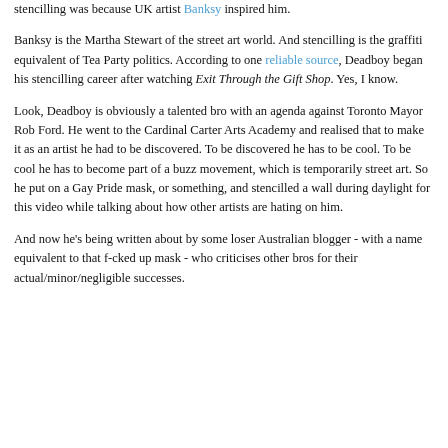stencilling was because UK artist Banksy inspired him.

Banksy is the Martha Stewart of the street art world. And stencilling is the graffiti equivalent of Tea Party politics. According to one reliable source, Deadboy began his stencilling career after watching Exit Through the Gift Shop. Yes, I know.

Look, Deadboy is obviously a talented bro with an agenda against Toronto Mayor Rob Ford. He went to the Cardinal Carter Arts Academy and realised that to make it as an artist he had to be discovered. To be discovered he has to be cool. To be cool he has to become part of a buzz movement, which is temporarily street art. So he put on a Gay Pride mask, or something, and stencilled a wall during daylight for this video while talking about how other artists are hating on him.

And now he's being written about by some loser Australian blogger - with a name equivalent to that f-cked up mask - who criticises other bros for their actual/minor/negligible successes.